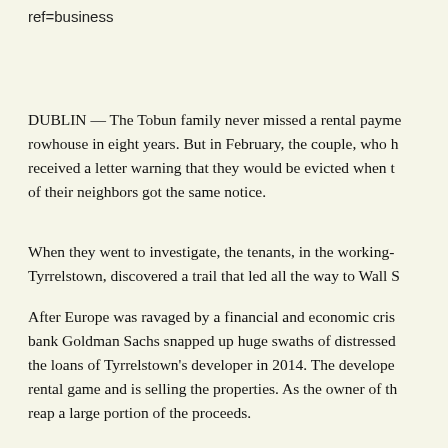ref=business
DUBLIN — The Tobun family never missed a rental payment on their rowhouse in eight years. But in February, the couple, who have children, received a letter warning that they would be evicted when their lease ended. All of their neighbors got the same notice.
When they went to investigate, the tenants, in the working-class area of Tyrrelstown, discovered a trail that led all the way to Wall Street.
After Europe was ravaged by a financial and economic crisis, the American bank Goldman Sachs snapped up huge swaths of distressed debt, including the loans of Tyrrelstown's developer in 2014. The developer has exited the rental game and is selling the properties. As the owner of the loans, Goldman will reap a large portion of the proceeds.
Goldman has nothing to do with the possible evictions here directly. But banks have played such a large role in Europe's housing recovery — reaping huge profits in the process — they have become the main target of people who hold banks to account as a cause.